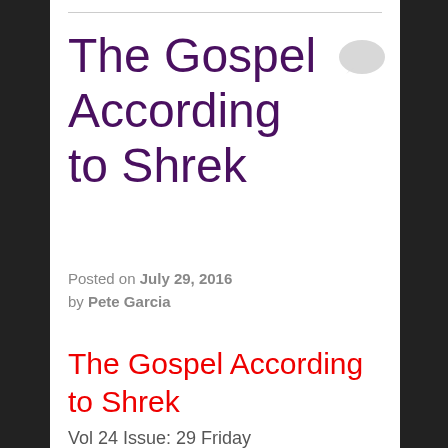The Gospel According to Shrek
Posted on July 29, 2016 by Pete Garcia
The Gospel According to Shrek
Vol 24 Issue: 29 Friday